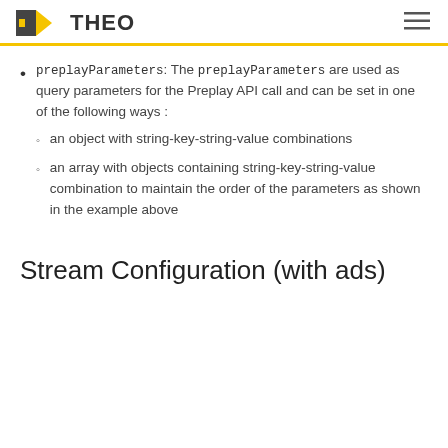THEO
preplayParameters: The preplayParameters are used as query parameters for the Preplay API call and can be set in one of the following ways :
an object with string-key-string-value combinations
an array with objects containing string-key-string-value combination to maintain the order of the parameters as shown in the example above
Stream Configuration (with ads)